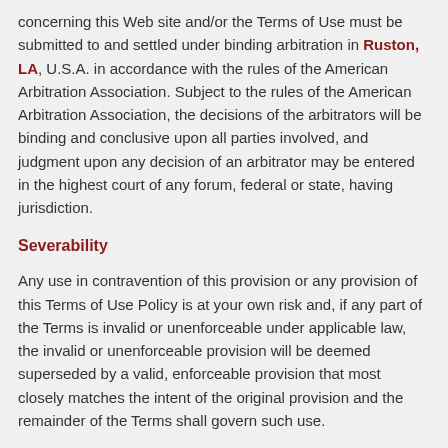concerning this Web site and/or the Terms of Use must be submitted to and settled under binding arbitration in Ruston, LA, U.S.A. in accordance with the rules of the American Arbitration Association. Subject to the rules of the American Arbitration Association, the decisions of the arbitrators will be binding and conclusive upon all parties involved, and judgment upon any decision of an arbitrator may be entered in the highest court of any forum, federal or state, having jurisdiction.
Severability
Any use in contravention of this provision or any provision of this Terms of Use Policy is at your own risk and, if any part of the Terms is invalid or unenforceable under applicable law, the invalid or unenforceable provision will be deemed superseded by a valid, enforceable provision that most closely matches the intent of the original provision and the remainder of the Terms shall govern such use.
Changes to Terms of Use
You agree that Apartments in Ruston LA may at any time